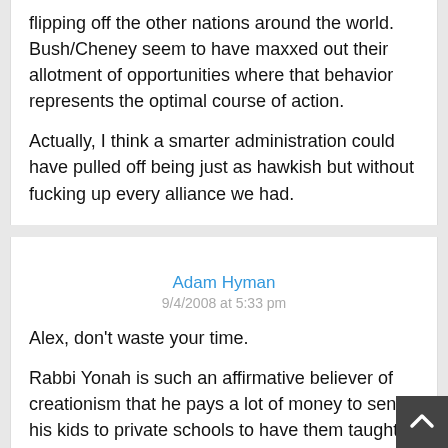flipping off the other nations around the world. Bush/Cheney seem to have maxxed out their allotment of opportunities where that behavior represents the optimal course of action.
Actually, I think a smarter administration could have pulled off being just as hawkish but without fucking up every alliance we had.
Adam Hyman
9/4/2008 at 5:33 pm
Alex, don't waste your time.
Rabbi Yonah is such an affirmative believer of creationism that he pays a lot of money to send his kids to private schools to have them taught it. I would also assume, if he holds the Torah view, that he is against